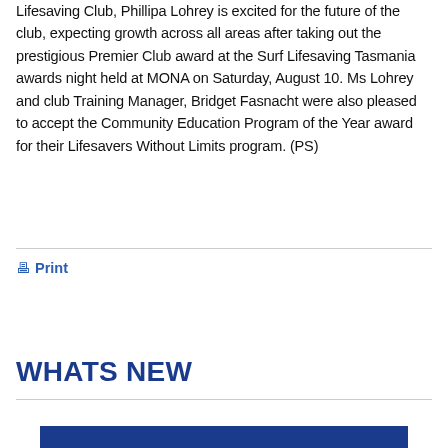Lifesaving Club, Phillipa Lohrey is excited for the future of the club, expecting growth across all areas after taking out the prestigious Premier Club award at the Surf Lifesaving Tasmania awards night held at MONA on Saturday, August 10. Ms Lohrey and club Training Manager, Bridget Fasnacht were also pleased to accept the Community Education Program of the Year award for their Lifesavers Without Limits program. (PS)
🖶 Print
WHATS NEW